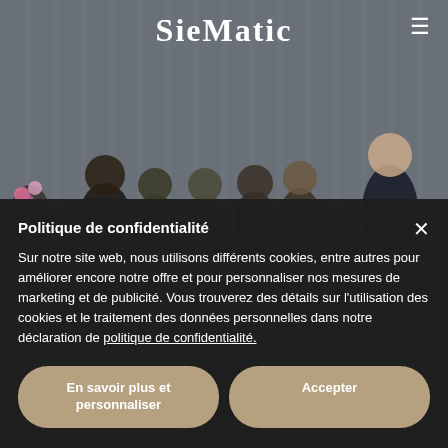[Figure (photo): Background photo of a group of people gathered around a table in an industrial-style setting with a corrugated metal wall behind them]
SieMatic
Politique de confidentialité
Sur notre site web, nous utilisons différents cookies, entre autres pour améliorer encore notre offre et pour personnaliser nos mesures de marketing et de publicité. Vous trouverez des détails sur l'utilisation des cookies et le traitement des données personnelles dans notre déclaration de politique de confidentialité.
En savoir plus et personnaliser
Accepter